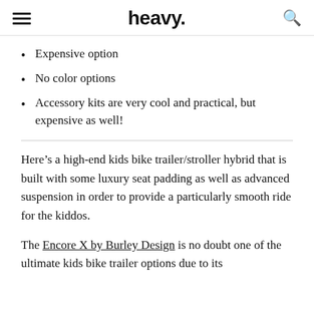heavy.
Expensive option
No color options
Accessory kits are very cool and practical, but expensive as well!
Here’s a high-end kids bike trailer/stroller hybrid that is built with some luxury seat padding as well as advanced suspension in order to provide a particularly smooth ride for the kiddos.
The Encore X by Burley Design is no doubt one of the ultimate kids bike trailer options due to its